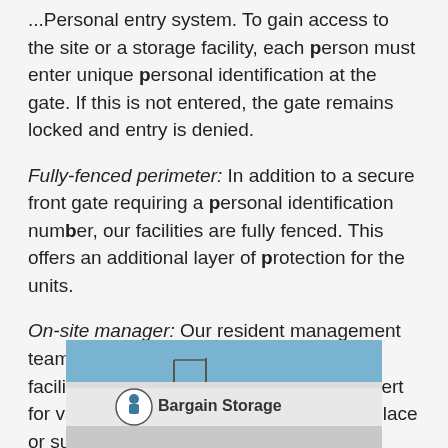...Personal entry system. To gain access to the site or a storage facility, each person must enter unique personal identification at the gate. If this is not entered, the gate remains locked and entry is denied.
Fully-fenced perimeter: In addition to a secure front gate requiring a personal identification number, our facilities are fully fenced. This offers an additional layer of protection for the units.
On-site manager: Our resident management teams are familiar with the layout of each facility in detail. They are trained to stay alert for various activities that may look out of place or suspicious.
[Figure (photo): Photo of Bargain Storage facility sign on a building with blue sky background]